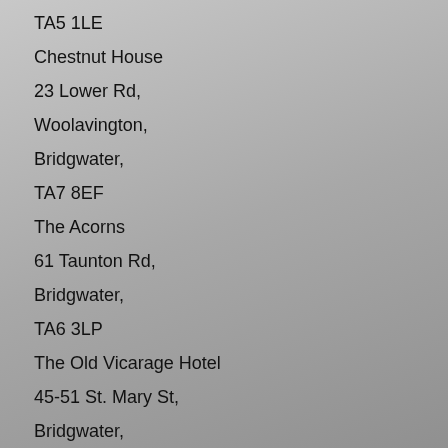TA5 1LE
Chestnut House
23 Lower Rd,
Woolavington,
Bridgwater,
TA7 8EF
The Acorns
61 Taunton Rd,
Bridgwater,
TA6 3LP
The Old Vicarage Hotel
45-51 St. Mary St,
Bridgwater,
TA6 3EQ
Brewsters In Bridgwater
Express Pk/Bristol Rd,
Bridgwater,